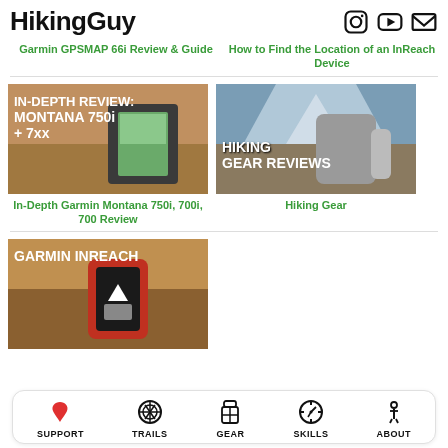HikingGuy
Garmin GPSMAP 66i Review & Guide
How to Find the Location of an InReach Device
[Figure (photo): In-Depth Review: Montana 750i + 7xx thumbnail with Garmin device on rock]
In-Depth Garmin Montana 750i, 700i, 700 Review
[Figure (photo): Hiking Gear Reviews thumbnail with mountaineer and gear]
Hiking Gear
[Figure (photo): Garmin InReach thumbnail showing orange device]
SUPPORT TRAILS GEAR SKILLS ABOUT